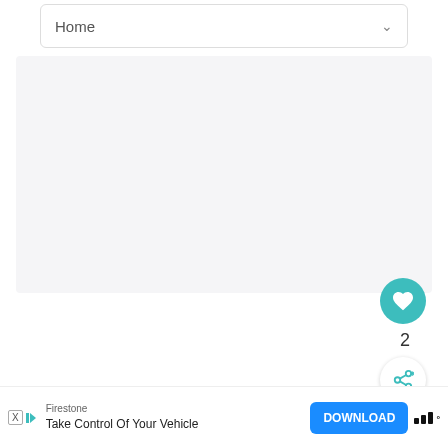Home
[Figure (other): Large light gray empty content area]
[Figure (other): Heart/like button (teal circle with white heart icon), like count '2', and share button below]
Miscellaneous
[Figure (other): What's Next panel with circular thumbnail of tree-lined path and text 'Hornbeam Growing...']
Co...
[Figure (other): Advertisement banner: Firestone brand, 'Take Control Of Your Vehicle', DOWNLOAD button, and app logo]